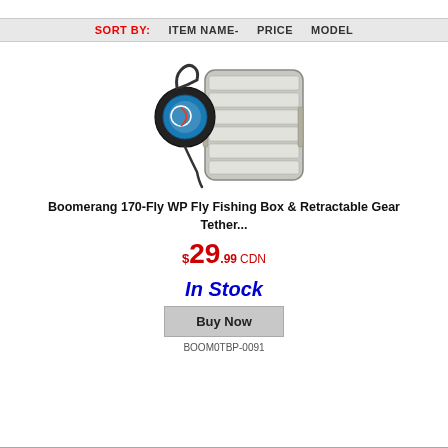SORT BY:   ITEM NAME-   PRICE   MODEL
[Figure (photo): Product photo of Boomerang 170-Fly WP Fly Fishing Box and Retractable Gear Tether - shows a silver waterproof fly box with ribbed lid alongside a black retractable gear tether with circular logo badge and carabiner clip]
Boomerang 170-Fly WP Fly Fishing Box & Retractable Gear Tether...
$29.99 CDN
In Stock
Buy Now
BOOM0TBP-0091